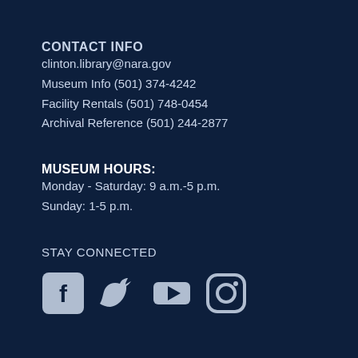CONTACT INFO
clinton.library@nara.gov
Museum Info (501) 374-4242
Facility Rentals (501) 748-0454
Archival Reference (501) 244-2877
MUSEUM HOURS:
Monday - Saturday: 9 a.m.-5 p.m.
Sunday: 1-5 p.m.
STAY CONNECTED
[Figure (illustration): Social media icons for Facebook, Twitter, YouTube, and Instagram]